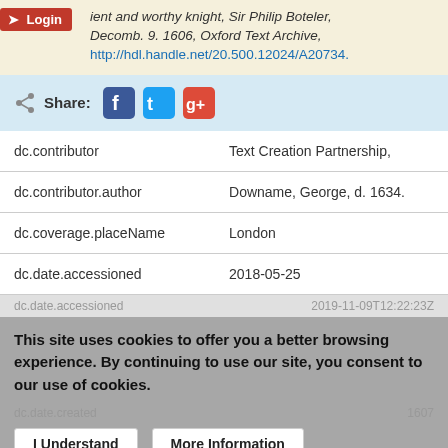icient and worthy knight, Sir Philip Boteler, Decomb. 9. 1606, Oxford Text Archive, http://hdl.handle.net/20.500.12024/A20734.
[Figure (other): Share bar with Facebook, Twitter, and Google+ icons]
| Field | Value |
| --- | --- |
| dc.contributor | Text Creation Partnership, |
| dc.contributor.author | Downame, George, d. 1634. |
| dc.coverage.placeName | London |
| dc.date.accessioned | 2018-05-25 |
dc.date.accessioned    2019-11-09T12:22:23Z
This site uses cookies to offer you a better browsing experience. By continuing to use our site, you consent to our use of cookies.
dc.date.created    1607